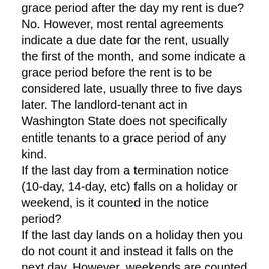grace period after the day my rent is due?
No. However, most rental agreements indicate a due date for the rent, usually the first of the month, and some indicate a grace period before the rent is to be considered late, usually three to five days later. The landlord-tenant act in Washington State does not specifically entitle tenants to a grace period of any kind.
If the last day from a termination notice (10-day, 14-day, etc) falls on a holiday or weekend, is it counted in the notice period?
If the last day lands on a holiday then you do not count it and instead it falls on the next day. However, weekends are counted like any other day. Make sure it is a holiday recognized by the court (not “Boxing Day.”)
Are there any resources to help me move?
It can be very difficult to find assistance moving into and out of rental units. Few agencies offer this type